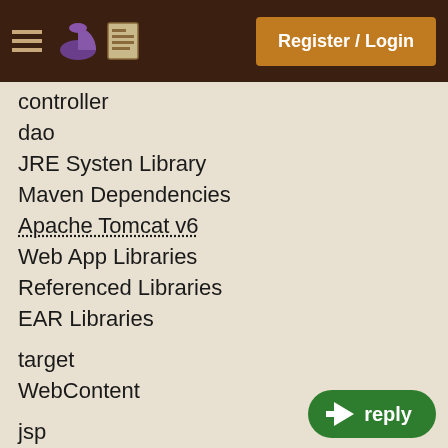Register / Login
controller
dao
JRE Systen Library
Maven Dependencies
Apache Tomcat v6
Web App Libraries
Referenced Libraries
EAR Libraries
target
WebContent
jsp
Web-Inf
html
.classpath
.project
pom.xml
The thing that is flustering me is that there are Maven Dependencies, and WEB-INF/lib. And the two are not merged... i.e. there are maven dependencies which are